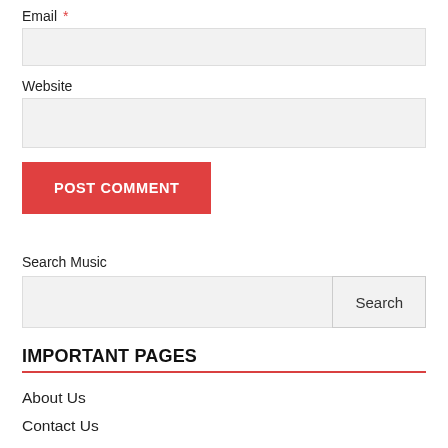Email *
Website
POST COMMENT
Search Music
IMPORTANT PAGES
About Us
Contact Us
Disclaimer
Privacy Policy
Sample Page